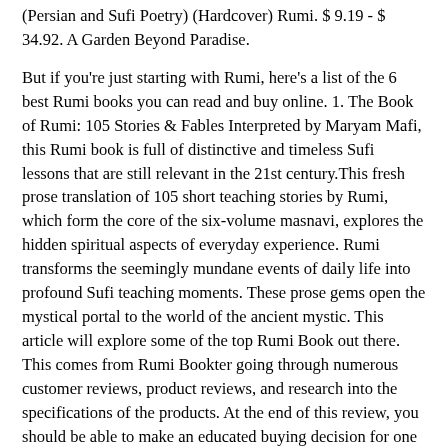(Persian and Sufi Poetry) (Hardcover) Rumi. $ 9.19 - $ 34.92. A Garden Beyond Paradise.
But if you're just starting with Rumi, here's a list of the 6 best Rumi books you can read and buy online. 1. The Book of Rumi: 105 Stories & Fables Interpreted by Maryam Mafi, this Rumi book is full of distinctive and timeless Sufi lessons that are still relevant in the 21st century.This fresh prose translation of 105 short teaching stories by Rumi, which form the core of the six-volume masnavi, explores the hidden spiritual aspects of everyday experience. Rumi transforms the seemingly mundane events of daily life into profound Sufi teaching moments. These prose gems open the mystical portal to the world of the ancient mystic. This article will explore some of the top Rumi Book out there. This comes from Rumi Bookter going through numerous customer reviews, product reviews, and research into the specifications of the products. At the end of this review, you should be able to make an educated buying decision for one or multiple Rumi Book. Best Rumi Book: Top 10 ...
From Madonna to Deepak Chopra, celebrities have been recording and embracing Rumi's poetry for the past two decades, creating a resurgence of interest in this 13th century Sufi mystic. This beautiful collection of 196 of his poems, previously unavailable in English and now translated by native Persian speakers Maryam